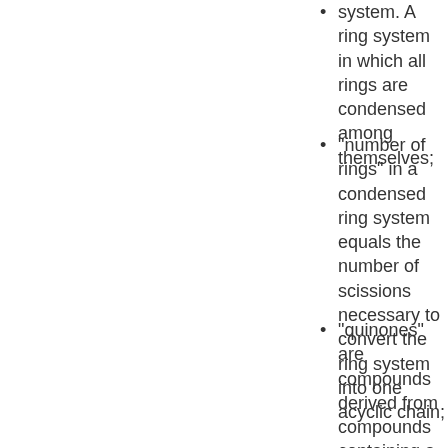system. A ring system in which all rings are condensed among themselves;
"number of rings" in a condensed ring system equals the number of scissions necessary to convert the ring system into one acyclic chain;
"quinones" are compounds derived from compounds containing a six-membered aromatic ring or a system comprising six-membered aromatic rings (which system may be condensed or not condensed) by replacing two or four